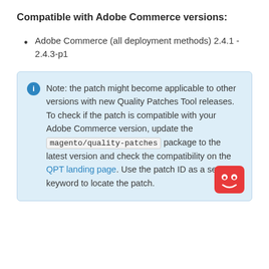Compatible with Adobe Commerce versions:
Adobe Commerce (all deployment methods) 2.4.1 - 2.4.3-p1
Note: the patch might become applicable to other versions with new Quality Patches Tool releases. To check if the patch is compatible with your Adobe Commerce version, update the magento/quality-patches package to the latest version and check the compatibility on the QPT landing page. Use the patch ID as a search keyword to locate the patch.